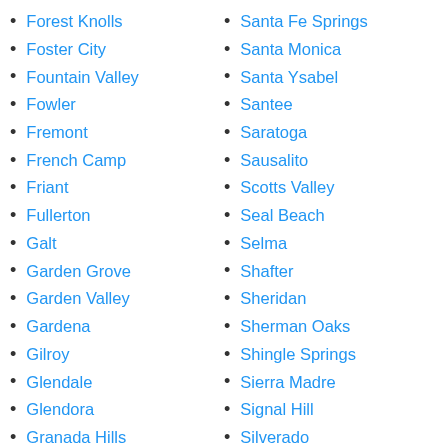Forest Knolls
Foster City
Fountain Valley
Fowler
Fremont
French Camp
Friant
Fullerton
Galt
Garden Grove
Garden Valley
Gardena
Gilroy
Glendale
Glendora
Granada Hills
Grand Terrace
Granite Bay
Greenbrae
Santa Fe Springs
Santa Monica
Santa Ysabel
Santee
Saratoga
Sausalito
Scotts Valley
Seal Beach
Selma
Shafter
Sheridan
Sherman Oaks
Shingle Springs
Sierra Madre
Signal Hill
Silverado
Simi Valley
Sloughhouse
Solana Beach